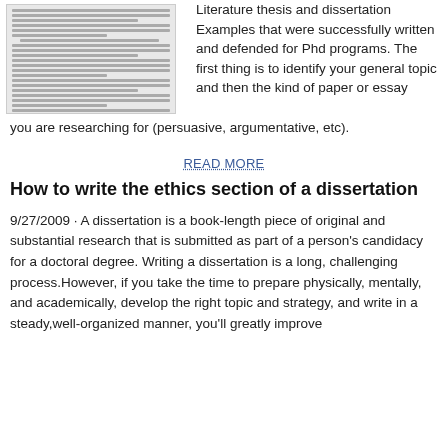[Figure (other): Small blurred/miniaturized document image showing dense paragraph text]
Literature thesis and dissertation Examples that were successfully written and defended for Phd programs. The first thing is to identify your general topic and then the kind of paper or essay you are researching for (persuasive, argumentative, etc).
READ MORE
How to write the ethics section of a dissertation
9/27/2009 · A dissertation is a book-length piece of original and substantial research that is submitted as part of a person's candidacy for a doctoral degree. Writing a dissertation is a long, challenging process.However, if you take the time to prepare physically, mentally, and academically, develop the right topic and strategy, and write in a steady,well-organized manner, you'll greatly improve